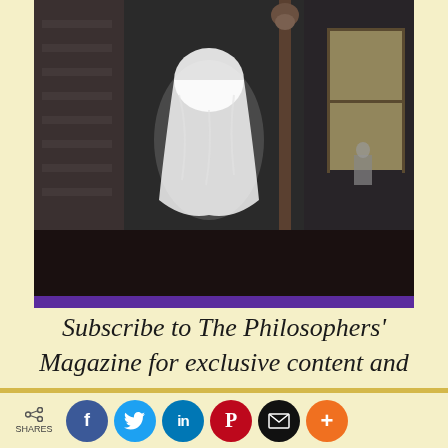[Figure (photo): Black and white photograph of a ghostly white draped figure standing in an interior room with tiled walls and wooden banister, set against a purple background banner]
Subscribe to The Philosophers' Magazine for exclusive content and access to 20 years of back issues.